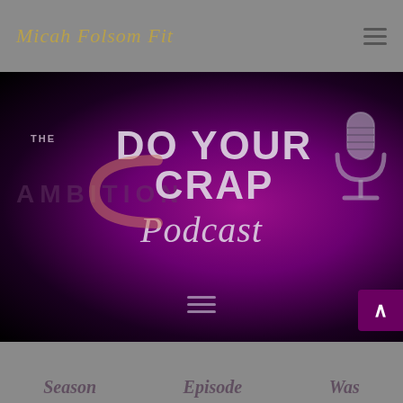Micah Folsom Fit - navigation header with hamburger menu
[Figure (screenshot): Hero banner with dark purple-magenta gradient background showing 'THE DO YOUR CRAP Podcast' logo with microphone icon and decorative script lettering]
Bottom gray section with decorative script text partially visible